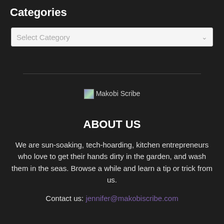Categories
[Figure (screenshot): Dropdown select box with placeholder text 'Select Category' and a dropdown arrow on the right]
ABOUT US
We are sun-soaking, tech-hoarding, kitchen entrepreneurs who love to get their hands dirty in the garden, and wash them in the seas. Browse a while and learn a tip or trick from us.
Contact us: jennifer@makobiscribe.com